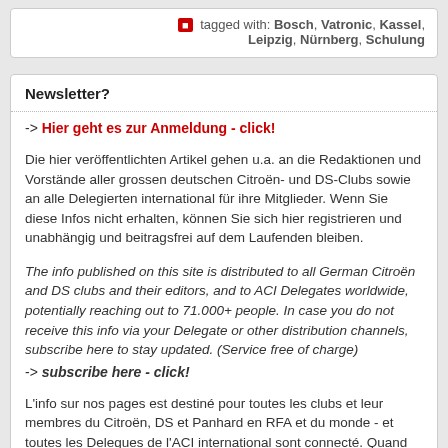tagged with: Bosch, Vatronic, Kassel, Leipzig, Nürnberg, Schulung
Newsletter?
-> Hier geht es zur Anmeldung - click!
Die hier veröffentlichten Artikel gehen u.a. an die Redaktionen und Vorstände aller grossen deutschen Citroën- und DS-Clubs sowie an alle Delegierten international für ihre Mitglieder. Wenn Sie diese Infos nicht erhalten, können Sie sich hier registrieren und unabhängig und beitragsfrei auf dem Laufenden bleiben.
The info published on this site is distributed to all German Citroën and DS clubs and their editors, and to ACI Delegates worldwide, potentially reaching out to 71.000+ people. In case you do not receive this info via your Delegate or other distribution channels, subscribe here to stay updated. (Service free of charge)
-> subscribe here - click!
L'info sur nos pages est destiné pour toutes les clubs et leur membres du Citroën, DS et Panhard en RFA et du monde - et toutes les Delegues de l'ACI international sont connecté. Quand vous etes interessé d'obtenir les